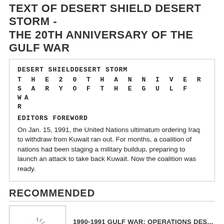TEXT OF DESERT SHIELD DESERT STORM - THE 20TH ANNIVERSARY OF THE GULF WAR
DESERT SHIELDDESERT STORM
T H E 2 0 T H A N N I V E R S A R Y O F T H E G U L F WA R
EDITORS FOREWORD
On Jan. 15, 1991, the United Nations ultimatum ordering Iraq to withdraw from Kuwait ran out. For months, a coalition of nations had been staging a military buildup, preparing to launch an attack to take back Kuwait. Now the coalition was ready.
RECOMMENDED
[Figure (screenshot): Thumbnail image with loading spinner for 1990-1991 GULF WAR: OPERATIONS DES...]
1990-1991 GULF WAR: OPERATIONS DES...
DOCUMENTS
[Figure (screenshot): Thumbnail image with loading spinner for GULF WAR 1990-1991: OPERATION DESE...]
GULF WAR 1990-1991: OPERATION DESE...
DOCUMENTS